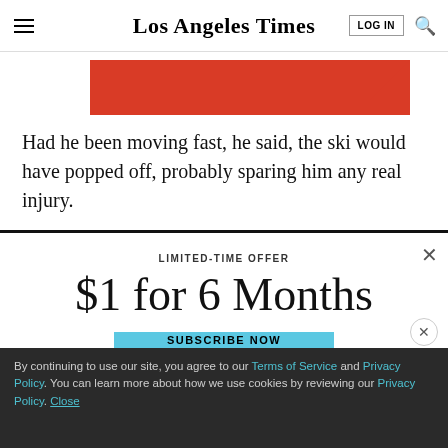Los Angeles Times
[Figure (illustration): Red banner/advertisement graphic partially visible at top of page]
Had he been moving fast, he said, the ski would have popped off, probably sparing him any real injury.
LIMITED-TIME OFFER
$1 for 6 Months
SUBSCRIBE NOW
By continuing to use our site, you agree to our Terms of Service and Privacy Policy. You can learn more about how we use cookies by reviewing our Privacy Policy. Close